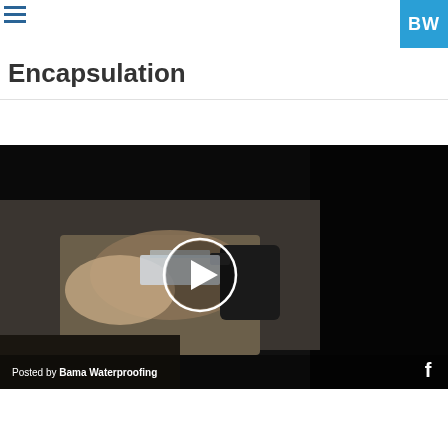BW
Encapsulation
[Figure (screenshot): Video thumbnail showing hands applying waterproofing material in a dark basement or crawlspace, with a circular white play button overlay in the center. Bottom bar shows 'Posted by Bama Waterproofing' and a Facebook icon.]